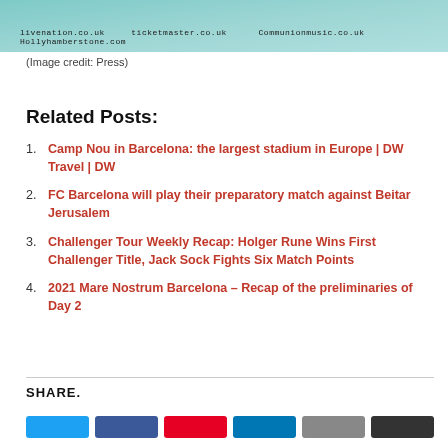[Figure (photo): Top portion of a concert/event promotional image with website URLs: livenation.co.uk, ticketmaster.co.uk, Communionmusic.co.uk, Hollyhamberstone.com]
(Image credit: Press)
Related Posts:
Camp Nou in Barcelona: the largest stadium in Europe | DW Travel | DW
FC Barcelona will play their preparatory match against Beitar Jerusalem
Challenger Tour Weekly Recap: Holger Rune Wins First Challenger Title, Jack Sock Fights Six Match Points
2021 Mare Nostrum Barcelona – Recap of the preliminaries of Day 2
SHARE.